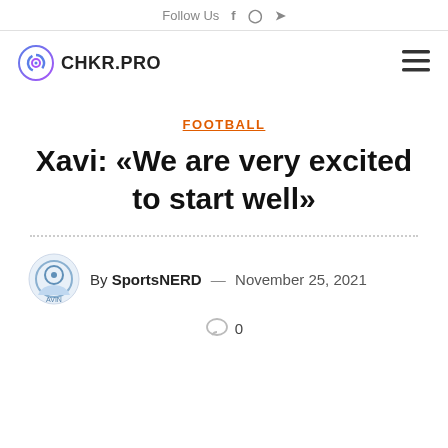Follow Us  f  Instagram  Twitter
[Figure (logo): CHKR.PRO logo with spiral icon]
FOOTBALL
Xavi: «We are very excited to start well»
By SportsNERD — November 25, 2021
0